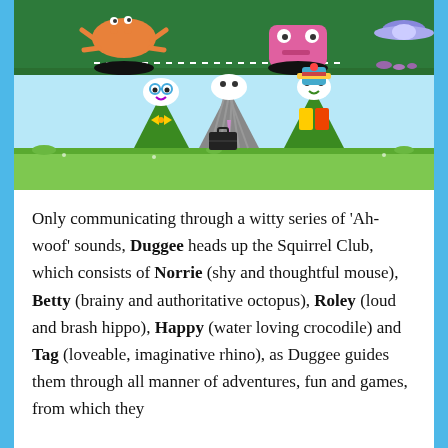[Figure (illustration): Cartoon illustration from the children's show Hey Duggee. Top portion shows dark green ground with an orange crab-like creature and a pink monster emerging from black holes, with a dotted line between them and a small alien/UFO in the top right. Bottom portion shows a light blue sky background with a green grassy ground, and three triangular green characters (the Squirrel Club members) each with white eyes and distinctive features: left one has blue round glasses and yellow bow tie, middle one wears a grey striped suit with a pink tie and holds a black briefcase, right one wears a colorful hat and scarf.]
Only communicating through a witty series of 'Ah-woof' sounds, Duggee heads up the Squirrel Club, which consists of Norrie (shy and thoughtful mouse), Betty (brainy and authoritative octopus), Roley (loud and brash hippo), Happy (water loving crocodile) and Tag (loveable, imaginative rhino), as Duggee guides them through all manner of adventures, fun and games, from which they